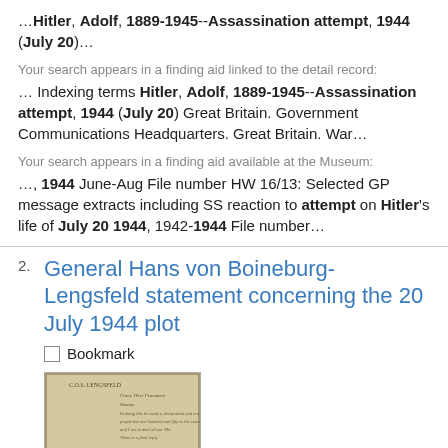…Hitler, Adolf, 1889-1945--Assassination attempt, 1944 (July 20)…
Your search appears in a finding aid linked to the detail record:
… Indexing terms Hitler, Adolf, 1889-1945--Assassination attempt, 1944 (July 20) Great Britain. Government Communications Headquarters. Great Britain. War…
Your search appears in a finding aid available at the Museum:
…, 1944 June-Aug File number HW 16/13: Selected GP message extracts including SS reaction to attempt on Hitler's life of July 20 1944, 1942-1944 File number…
General Hans von Boineburg-Lengsfeld statement concerning the 20 July 1944 plot
Bookmark
[Figure (photo): Thumbnail image of a handwritten document, aged paper with cursive text]